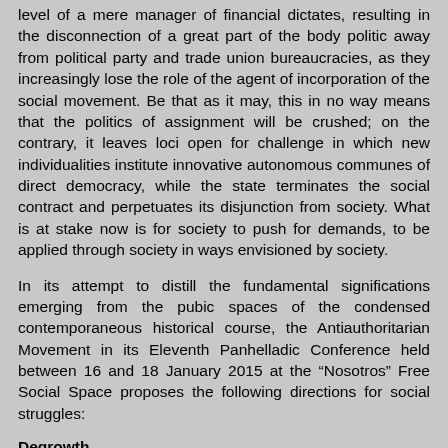level of a mere manager of financial dictates, resulting in the disconnection of a great part of the body politic away from political party and trade union bureaucracies, as they increasingly lose the role of the agent of incorporation of the social movement. Be that as it may, this in no way means that the politics of assignment will be crushed; on the contrary, it leaves loci open for challenge in which new individualities institute innovative autonomous communes of direct democracy, while the state terminates the social contract and perpetuates its disjunction from society. What is at stake now is for society to push for demands, to be applied through society in ways envisioned by society.
In its attempt to distill the fundamental significations emerging from the pubic spaces of the condensed contemporaneous historical course, the Antiauthoritarian Movement in its Eleventh Panhelladic Conference held between 16 and 18 January 2015 at the “Nosotros” Free Social Space proposes the following directions for social struggles:
Degrowth